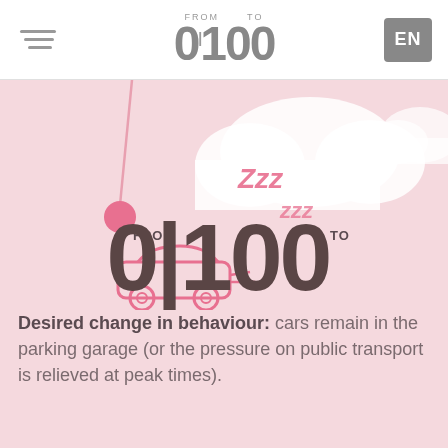FROM 0 TO 100  EN
[Figure (illustration): Pink background infographic illustration: clouds at top, a pink pendulum/ball on left, 'Zzz' text, a pink car icon, and large bold text 'FROM 0 TO 100' in dark grey overlaid on pink background]
Desired change in behaviour: cars remain in the parking garage (or the pressure on public transport is relieved at peak times).